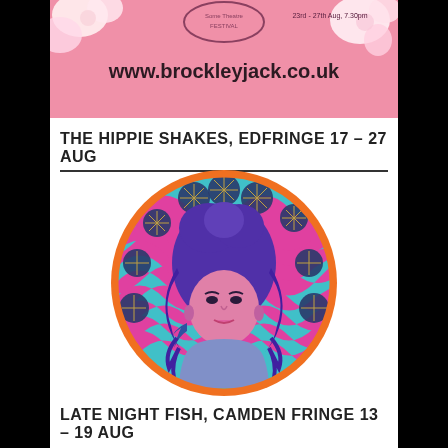[Figure (photo): Pink background image with flowers and text 'www.brockleyjack.co.uk' visible at bottom of cropped image]
THE HIPPIE SHAKES, EDFRINGE 17 – 27 AUG
[Figure (illustration): Psychedelic circular illustration featuring a woman with large purple hair against a pink and teal wavy background with dark blue circular geometric shapes arranged around the border]
LATE NIGHT FISH, CAMDEN FRINGE 13 – 19 AUG